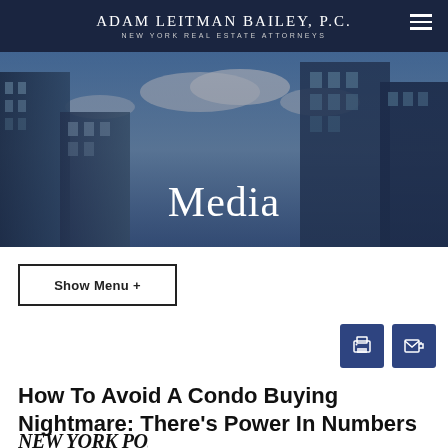ADAM LEITMAN BAILEY, P.C. | NEW YORK REAL ESTATE ATTORNEYS
[Figure (photo): Hero banner photo of glass skyscrapers viewed from below against a blue sky, with 'Media' text overlay in white serif font]
Show Menu +
[Figure (infographic): Print icon button and email/forward icon button, both in dark blue square buttons]
How To Avoid A Condo Buying Nightmare: There's Power In Numbers
[Figure (logo): New York Post logo in bold italic black serif font]